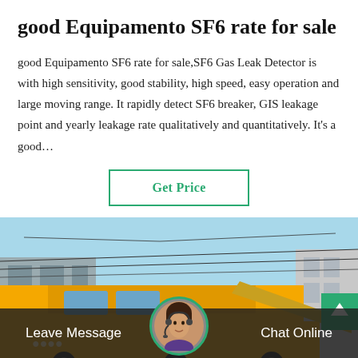good Equipamento SF6 rate for sale
good Equipamento SF6 rate for sale,SF6 Gas Leak Detector is with high sensitivity, good stability, high speed, easy operation and large moving range. It rapidly detect SF6 breaker, GIS leakage point and yearly leakage rate qualitatively and quantitatively. It's a good…
[Figure (other): Button labeled 'Get Price' with green border on white background]
[Figure (photo): Outdoor photo showing a yellow vehicle/truck with blue sky background, power lines, and some buildings. A scroll-up arrow button in green is visible on the right side.]
[Figure (other): Bottom navigation bar with dark semi-transparent background showing 'Leave Message' on left, a circular avatar photo of a woman with headset in the center with green border, and 'Chat Online' on the right.]